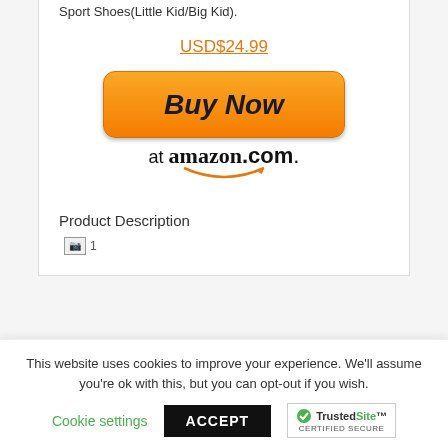Sport Shoes(Little Kid/Big Kid).
USD$24.99
[Figure (other): Buy Now at amazon.com button with orange gradient button and Amazon logo with smile arrow]
Product Description
[Figure (other): Broken image placeholder labeled '1']
This website uses cookies to improve your experience. We'll assume you're ok with this, but you can opt-out if you wish.
Cookie settings
ACCEPT
[Figure (logo): TrustedSite CERTIFIED SECURE badge with green checkmark]